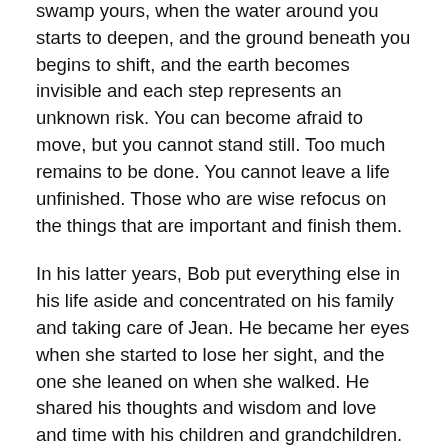swamp yours, when the water around you starts to deepen, and the ground beneath you begins to shift, and the earth becomes invisible and each step represents an unknown risk. You can become afraid to move, but you cannot stand still. Too much remains to be done. You cannot leave a life unfinished. Those who are wise refocus on the things that are important and finish them.
In his latter years, Bob put everything else in his life aside and concentrated on his family and taking care of Jean. He became her eyes when she started to lose her sight, and the one she leaned on when she walked. He shared his thoughts and wisdom and love and time with his children and grandchildren. He knew what his legacy would be and he shaped it into the best he could.
He loved to sing. He taught his children to love song too. I suspect they will sing songs of him. He deserves it. He